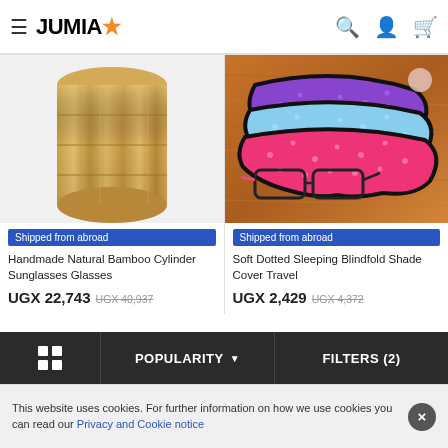JUMIA* — navigation header with search, account, and cart icons
[Figure (photo): Handmade Natural Bamboo Cylinder Sunglasses Glasses case — cylindrical bamboo container product photo]
Shipped from abroad
Handmade Natural Bamboo Cylinder Sunglasses Glasses
UGX 22,743 UGX 40,937
ADD TO CART
[Figure (photo): Soft Dotted Sleeping Blindfold Shade Cover Travel — pink, blue and purple polka dot sleep masks with glasses on wooden surface]
Shipped from abroad
Soft Dotted Sleeping Blindfold Shade Cover Travel
UGX 2,429 UGX 4,372
ADD TO CART
POPULARITY ↓ | FILTERS (2)
This website uses cookies. For further information on how we use cookies you can read our Privacy and Cookie notice